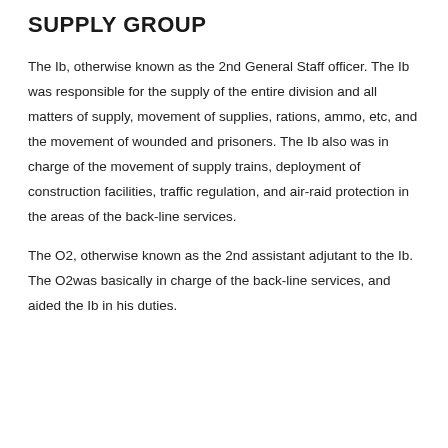SUPPLY GROUP
The Ib, otherwise known as the 2nd General Staff officer. The Ib was responsible for the supply of the entire division and all matters of supply, movement of supplies, rations, ammo, etc, and the movement of wounded and prisoners. The Ib also was in charge of the movement of supply trains, deployment of construction facilities, traffic regulation, and air-raid protection in the areas of the back-line services.
The O2, otherwise known as the 2nd assistant adjutant to the Ib. The O2was basically in charge of the back-line services, and aided the Ib in his duties.